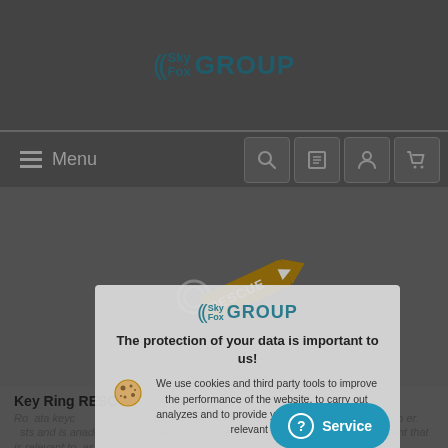[Figure (logo): SkyFox GROUP logo with crescent moon icon]
Menu
[Figure (photo): Product photo of a key ring with RESCUE arrow tag on dark background]
Key Ring RESCUE
Ro...ata keyc...the love of flying! This k...is a nice accessory for pilots or aviation er....sts and is an additional eye-catcher on...Data sp...and to provide you with content that is relevant to...as...y...ng...
[Figure (infographic): Cookie consent modal overlay with SkyFox GROUP logo. Title: The protection of your data is important to us! Body: We use cookies and third party tools to improve the performance of the website, to carry out analyzes and to provide you with content that is relevant to you.]
The protection of your data is important to us!
We use cookies and third party tools to improve the performance of the website, to carry out analyzes and to provide you with content that is relevant to you.